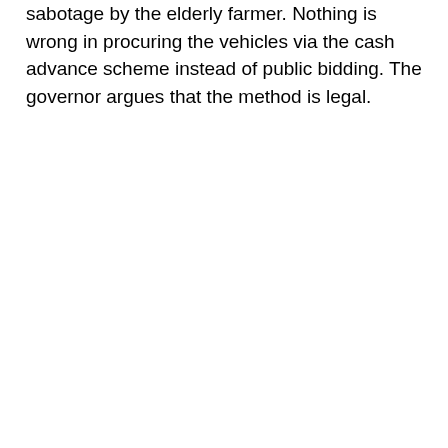sabotage by the elderly farmer. Nothing is wrong in procuring the vehicles via the cash advance scheme instead of public bidding. The governor argues that the method is legal.